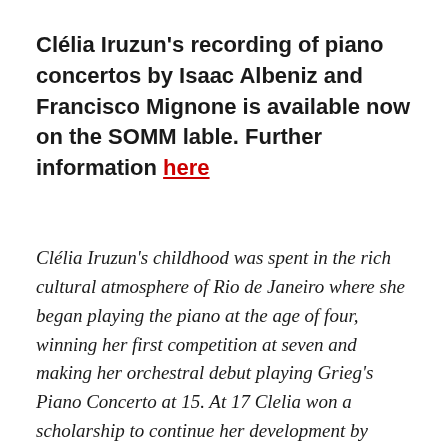Clélia Iruzun's recording of piano concertos by Isaac Albeniz and Francisco Mignone is available now on the SOMM lable. Further information here
Clélia Iruzun's childhood was spent in the rich cultural atmosphere of Rio de Janeiro where she began playing the piano at the age of four, winning her first competition at seven and making her orchestral debut playing Grieg's Piano Concerto at 15. At 17 Clelia won a scholarship to continue her development by studying with the highly regarded